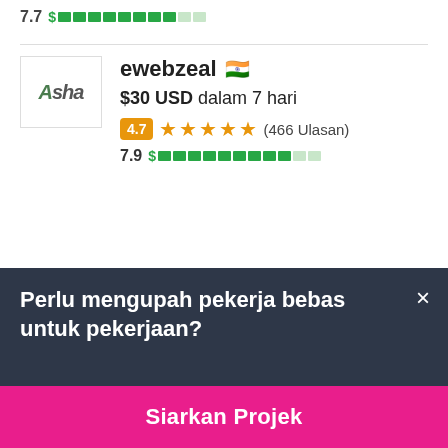7.7 $ ██████████░░ (bar indicator)
[Figure (screenshot): Freelancer profile card for ewebzeal with India flag, $30 USD dalam 7 hari, rating 4.7 stars (466 Ulasan), score 7.9 with green bar]
ewebzeal 🇮🇳
$30 USD dalam 7 hari
4.7 ★★★★★ (466 Ulasan)
7.9 $ ██████████░░
Perlu mengupah pekerja bebas untuk pekerjaan?
Siarkan Projek